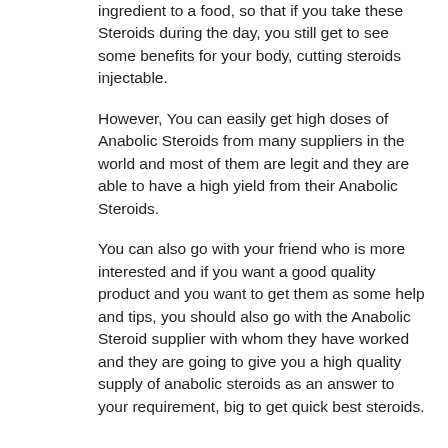ingredient to a food, so that if you take these Steroids during the day, you still get to see some benefits for your body, cutting steroids injectable.
However, You can easily get high doses of Anabolic Steroids from many suppliers in the world and most of them are legit and they are able to have a high yield from their Anabolic Steroids.
You can also go with your friend who is more interested and if you want a good quality product and you want to get them as some help and tips, you should also go with the Anabolic Steroid supplier with whom they have worked and they are going to give you a high quality supply of anabolic steroids as an answer to your requirement, big to get quick best steroids.